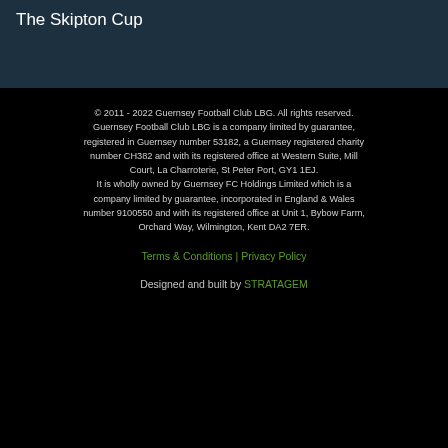The Skipton Cup
© 2011 - 2022 Guernsey Football Club LBG. All rights reserved. Guernsey Football Club LBG is a company limited by guarantee, registered in Guernsey number 53182, a Guernsey registered charity number CH382 and with its registered office at Western Suite, Mill Court, La Charroterie, St Peter Port, GY1 1EJ. It is wholly owned by Guernsey FC Holdings Limited which is a company limited by guarantee, incorporated in England & Wales number 9100550 and with its registered office at Unit 1, Bybow Farm, Orchard Way, Wilmington, Kent DA2 7ER.
Terms & Conditions | Privacy Policy
Designed and built by STRATAGEM